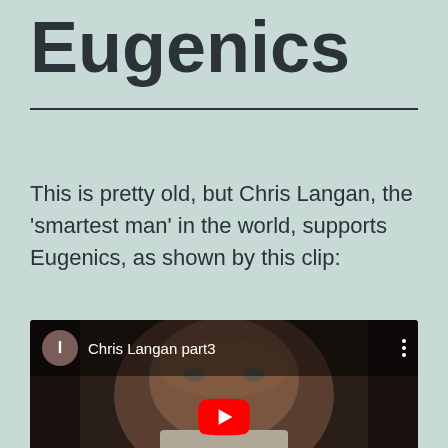Eugenics
This is pretty old, but Chris Langan, the 'smartest man' in the world, supports Eugenics, as shown by this clip:
[Figure (screenshot): YouTube video embed showing 'Chris Langan part3' with a play button overlay. The thumbnail shows a man's face. The video header shows a channel icon with 'I', the video title, and a three-dot menu.]